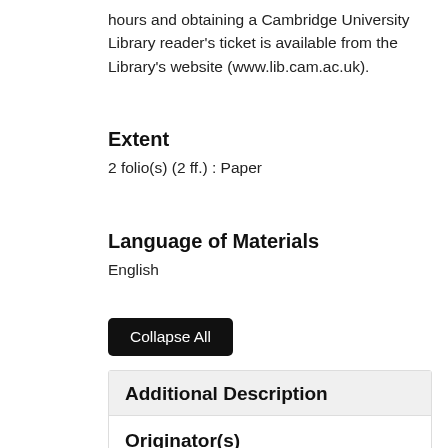hours and obtaining a Cambridge University Library reader's ticket is available from the Library's website (www.lib.cam.ac.uk).
Extent
2 folio(s) (2 ff.) : Paper
Language of Materials
English
Collapse All
Additional Description
Originator(s)
Maskelyne, Nevil
Original geographic information
Barbados [subject]